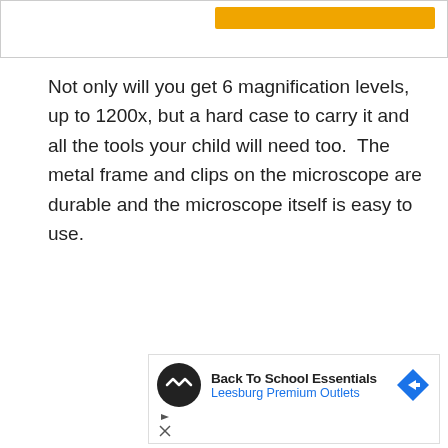Not only will you get 6 magnification levels, up to 1200x, but a hard case to carry it and all the tools your child will need too.  The metal frame and clips on the microscope are durable and the microscope itself is easy to use.
[Figure (screenshot): Advertisement banner: Back To School Essentials - Leesburg Premium Outlets, with circular logo and diamond arrow icon]